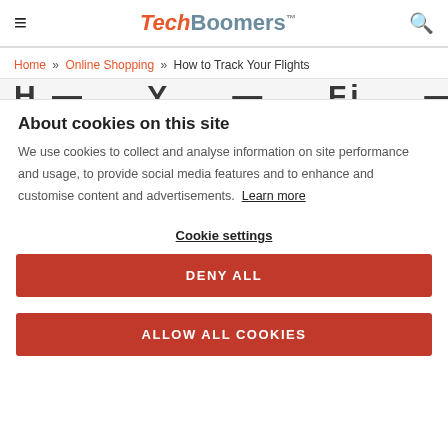TechBoomers™
Home » Online Shopping » How to Track Your Flights
About cookies on this site
We use cookies to collect and analyse information on site performance and usage, to provide social media features and to enhance and customise content and advertisements. Learn more
Cookie settings
DENY ALL
ALLOW ALL COOKIES